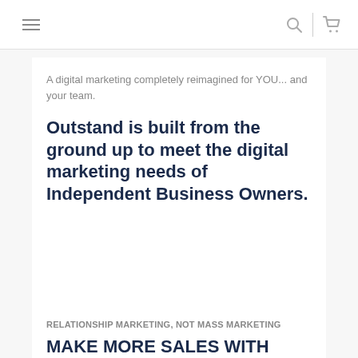≡ [search icon] | [cart icon]
A digital marketing completely reimagined for YOU... and your team.
Outstand is built from the ground up to meet the digital marketing needs of Independent Business Owners.
RELATIONSHIP MARKETING, NOT MASS MARKETING
MAKE MORE SALES WITH